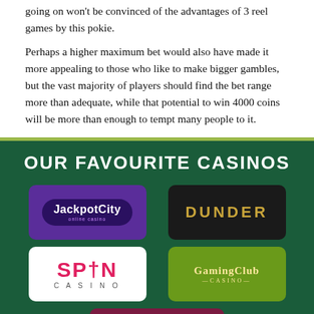going on won't be convinced of the advantages of 3 reel games by this pokie.
Perhaps a higher maximum bet would also have made it more appealing to those who like to make bigger gambles, but the vast majority of players should find the bet range more than adequate, while that potential to win 4000 coins will be more than enough to tempt many people to it.
OUR FAVOURITE CASINOS
[Figure (logo): JackpotCity casino logo - purple background with dark oval badge]
[Figure (logo): Dunder casino logo - dark background with gold capital letters]
[Figure (logo): Spin Casino logo - white background with red bold text]
[Figure (logo): Gaming Club Casino logo - green background with gold serif text]
[Figure (logo): Ruby Fortune casino logo - dark red/maroon background with white italic text]